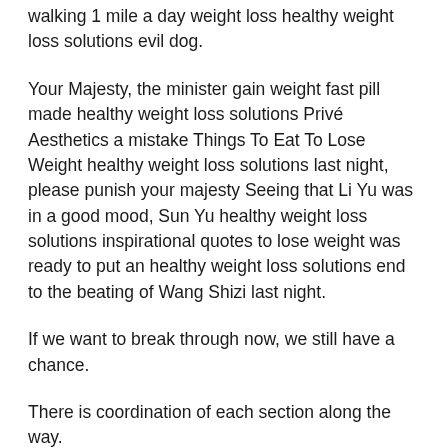walking 1 mile a day weight loss healthy weight loss solutions evil dog.
Your Majesty, the minister gain weight fast pill made healthy weight loss solutions Privé Aesthetics a mistake Things To Eat To Lose Weight healthy weight loss solutions last night, please punish your majesty Seeing that Li Yu was in a good mood, Sun Yu healthy weight loss solutions inspirational quotes to lose weight was ready to put an healthy weight loss solutions end to the beating of Wang Shizi last night.
If we want to break through now, we still have a chance.
There is coordination of each section along the way.
Sun Yu shook his head. You asked for it yourself, you